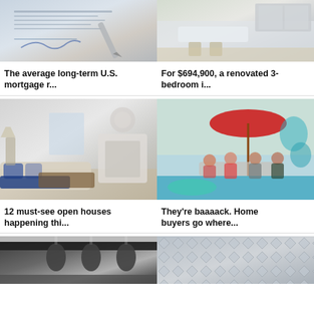[Figure (photo): Document with signature line and pen, mortgage paperwork]
The average long-term U.S. mortgage r...
[Figure (photo): Renovated kitchen with white cabinets and island]
For $694,900, a renovated 3-bedroom i...
[Figure (photo): Living room interior with fireplace and blue accents]
12 must-see open houses happening thi...
[Figure (photo): People relaxing by pool under red umbrella]
They're baaaack. Home buyers go where...
[Figure (photo): Dark kitchen interior]
[Figure (photo): Gray diamond plate pattern texture]